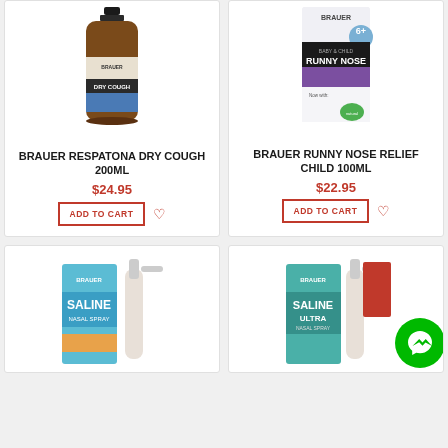[Figure (photo): Brauer Respatona Dry Cough 200ml amber bottle product image]
BRAUER RESPATONA DRY COUGH 200ML
$24.95
ADD TO CART
[Figure (photo): Brauer Runny Nose Relief Child 100ml product box image]
BRAUER RUNNY NOSE RELIEF CHILD 100ML
$22.95
ADD TO CART
[Figure (photo): Brauer Saline Nasal Spray product box with spray bottle]
[Figure (photo): Brauer Saline Ultra Nasal Spray product box with spray bottle and Messenger chat button overlay]